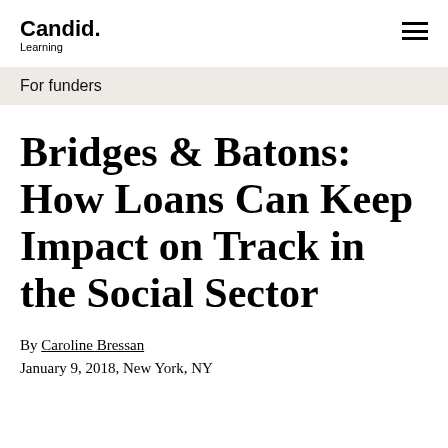Candid. Learning
For funders
Bridges & Batons: How Loans Can Keep Impact on Track in the Social Sector
By Caroline Bressan
January 9, 2018, New York, NY